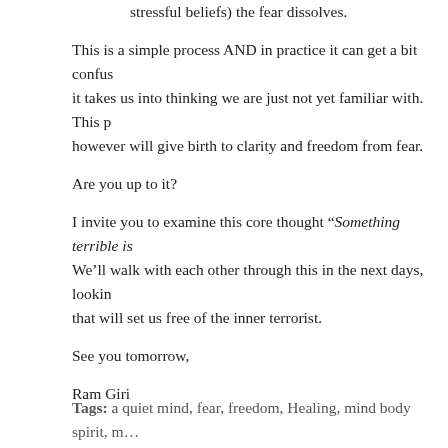stressful beliefs) the fear dissolves.
This is a simple process AND in practice it can get a bit confusing as it takes us into thinking we are just not yet familiar with. This process however will give birth to clarity and freedom from fear.
Are you up to it?
I invite you to examine this core thought “Something terrible is…” We’ll walk with each other through this in the next days, looking at that will set us free of the inner terrorist.
See you tomorrow,
Ram Giri
Tags: a quiet mind, fear, freedom, Healing, mind body spirit, m…